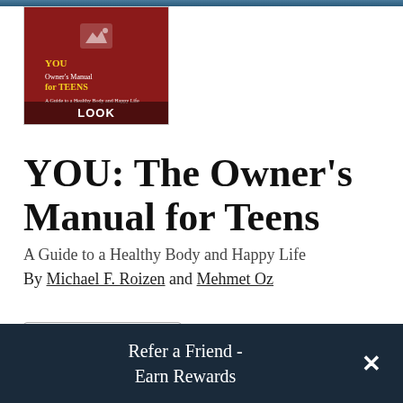[Figure (photo): Top portion of a blue/dark banner photo (cropped, mostly hidden)]
[Figure (photo): Book cover thumbnail for YOU: The Owner's Manual for Teens, red background with yellow text, with LOOK overlay label]
YOU: The Owner's Manual for Teens
A Guide to a Healthy Body and Happy Life
By Michael F. Roizen and Mehmet Oz
Trade Paperback
Refer a Friend - Earn Rewards